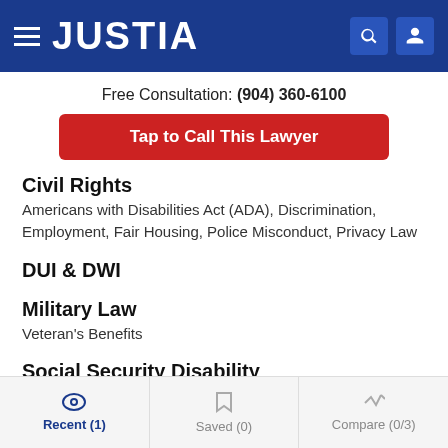JUSTIA
Free Consultation: (904) 360-6100
Tap to Call This Lawyer
Civil Rights
Americans with Disabilities Act (ADA), Discrimination, Employment, Fair Housing, Police Misconduct, Privacy Law
DUI & DWI
Military Law
Veteran's Benefits
Social Security Disability
Recent (1)   Saved (0)   Compare (0/3)